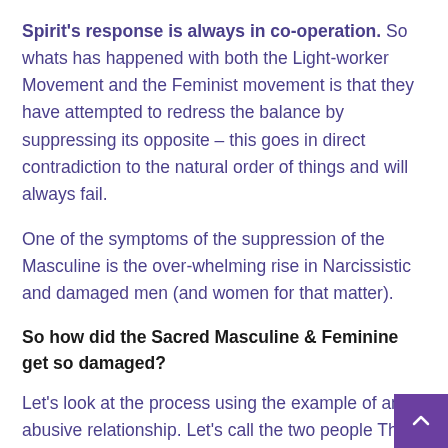Spirit's response is always in co-operation. So whats has happened with both the Light-worker Movement and the Feminist movement is that they have attempted to redress the balance by suppressing its opposite – this goes in direct contradiction to the natural order of things and will always fail.
One of the symptoms of the suppression of the Masculine is the over-whelming rise in Narcissistic and damaged men (and women for that matter).
So how did the Sacred Masculine & Feminine get so damaged?
Let's look at the process using the example of an abusive relationship. Let's call the two people The Victim and The Abuser. So, for the duration of the relationship the abuser breaks down and damages The Victim.